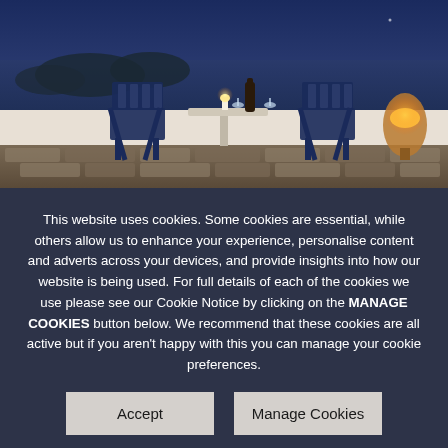[Figure (photo): Twilight scene of an outdoor terrace by a lake or sea, with two blue chairs and a small table set with wine bottle, glasses and a candle. A glowing lantern sits to the right. Stone wall in the foreground.]
This website uses cookies. Some cookies are essential, while others allow us to enhance your experience, personalise content and adverts across your devices, and provide insights into how our website is being used. For full details of each of the cookies we use please see our Cookie Notice by clicking on the MANAGE COOKIES button below. We recommend that these cookies are all active but if you aren't happy with this you can manage your cookie preferences.
Accept
Manage Cookies